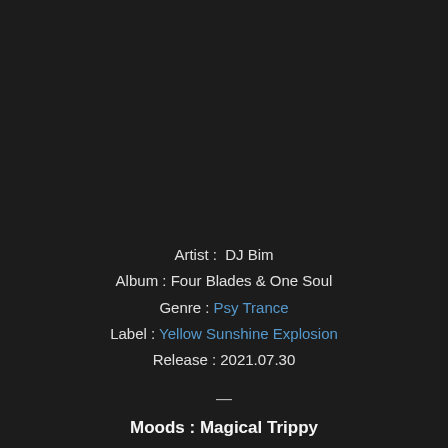Artist :  DJ Bim
Album : Four Blades & One Soul
Genre : Psy Trance
Label : Yellow Sunshine Explosion
Release : 2021.07.30
—
Moods : Magical Trippy